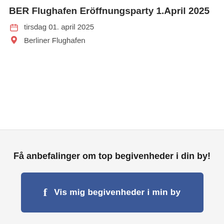BER Flughafen Eröffnungsparty 1.April 2025
tirsdag 01. april 2025
Berliner Flughafen
Få anbefalinger om top begivenheder i din by!
Vis mig begivenheder i min by